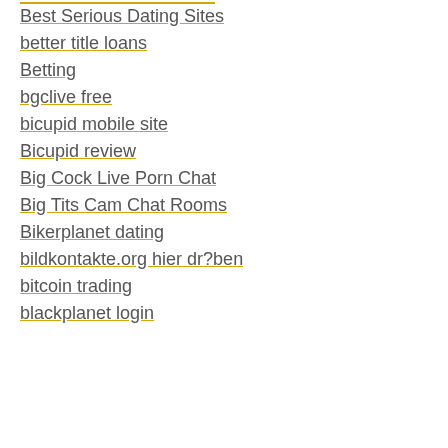Best Serious Dating Sites
better title loans
Betting
bgclive free
bicupid mobile site
Bicupid review
Big Cock Live Porn Chat
Big Tits Cam Chat Rooms
Bikerplanet dating
bildkontakte.org hier dr?ben
bitcoin trading
blackplanet login